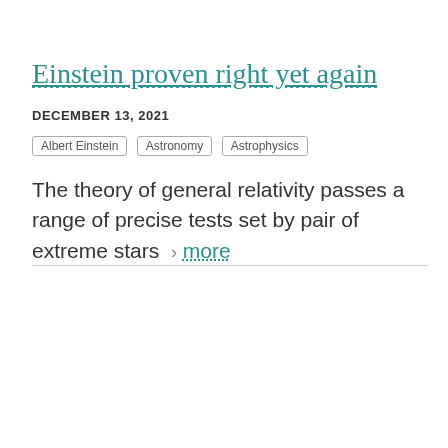Einstein proven right yet again
DECEMBER 13, 2021
Albert Einstein   Astronomy   Astrophysics
The theory of general relativity passes a range of precise tests set by pair of extreme stars  >  more